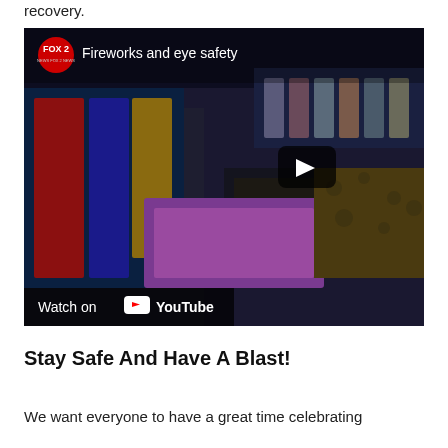recovery.
[Figure (screenshot): FOX 2 news video thumbnail titled 'Fireworks and eye safety' showing a display of fireworks products in a store, with a play button overlay and 'Watch on YouTube' bar at the bottom.]
Stay Safe And Have A Blast!
We want everyone to have a great time celebrating